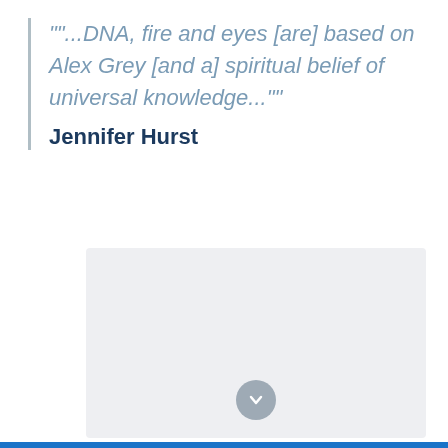""...DNA, fire and eyes [are] based on Alex Grey [and a] spiritual belief of universal knowledge...""
[Figure (other): A light grey rectangular placeholder image area with a circular chevron/down-arrow button centered at the bottom]